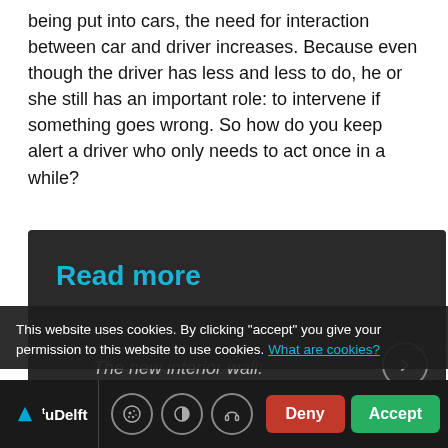being put into cars, the need for interaction between car and driver increases. Because even though the driver has less and less to do, he or she still has an important role: to intervene if something goes wrong. So how do you keep alert a driver who only needs to act once in a while?
Read more
[Figure (screenshot): Dark panel showing 'Read more' heading and partially visible article thumbnail with text 'The new interior wall:']
This website uses cookies. By clicking "accept" you give your permission to this website to use cookies. What are cookies?
[Figure (screenshot): Cookie consent footer bar with TU Delft logo, cookie/display/headphone icons, and Deny (red) and Accept (green) buttons]